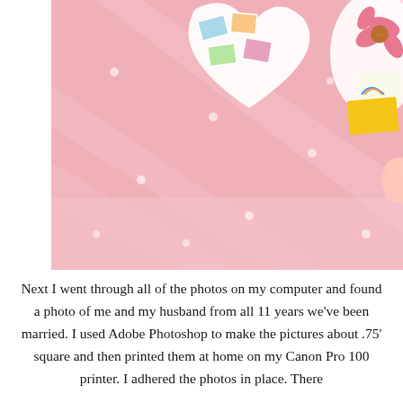[Figure (photo): A pink background with white polka dots and diagonal lighter pink stripes. In the upper portion there are photos/cards scattered, including a heart-shaped arrangement of small photos, and on the right side a decorative card with a pink flower design and colorful drawings. A child's hand is partially visible on the right edge.]
Next I went through all of the photos on my computer and found a photo of me and my husband from all 11 years we've been married. I used Adobe Photoshop to make the pictures about .75' square and then printed them at home on my Canon Pro 100 printer. I adhered the photos in place. There